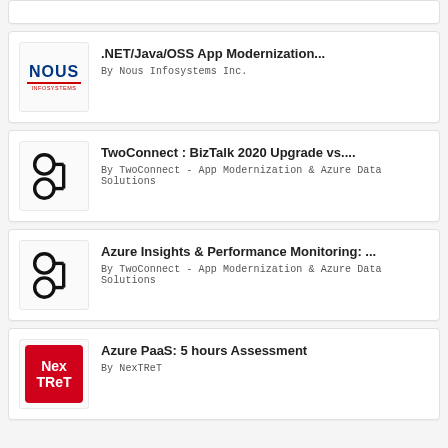[Figure (logo): Partial card visible at top (cropped)]
.NET/Java/OSS App Modernization...
By Nous Infosystems Inc.
[Figure (logo): TwoConnect logo - two circles connected]
TwoConnect : BizTalk 2020 Upgrade vs....
By TwoConnect - App Modernization & Azure Data Solutions
[Figure (logo): TwoConnect logo - two circles connected]
Azure Insights & Performance Monitoring: ...
By TwoConnect - App Modernization & Azure Data Solutions
[Figure (logo): NexTReT logo - red square with white text]
Azure PaaS: 5 hours Assessment
By NexTReT